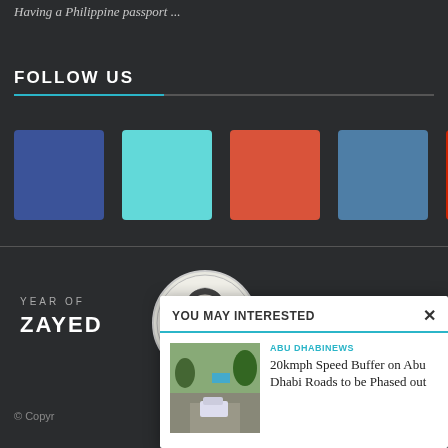Having a Philippine passport ...
FOLLOW US
[Figure (illustration): Five social media icon boxes in blue (Facebook), cyan (Twitter), orange-red (Google+), steel blue (LinkedIn), red (YouTube)]
[Figure (logo): Year of Zayed logo with circular portrait illustration and Arabic text]
© Copyr
YOU MAY INTERESTED
ABU DHABINEWS
20kmph Speed Buffer on Abu Dhabi Roads to be Phased out